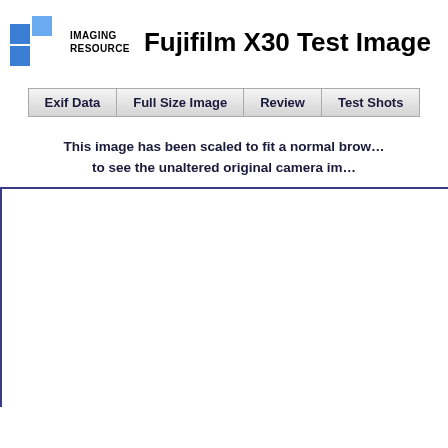IMAGING RESOURCE — Fujifilm X30 Test Image
Exif Data | Full Size Image | Review | Test Shots
This image has been scaled to fit a normal browser window. Click to see the unaltered original camera image.
[Figure (photo): White/blank image area with blue border on top and left sides]